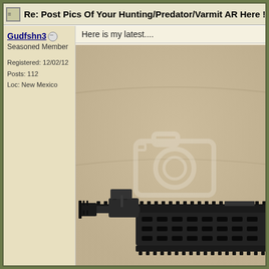Re: Post Pics Of Your Hunting/Predator/Varmit AR Here !!  [Re: Trailtr
Gudfshn3
Seasoned Member

Registered: 12/02/12
Posts: 112
Loc: New Mexico
Here is my latest....
[Figure (photo): Photo of an AR-style rifle front section with rail system, muzzle device, and handguard, laid on a tan/beige couch background with a camera watermark overlay]